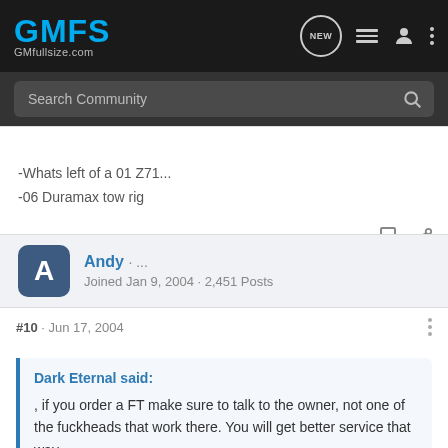GMFS GMfullsize.com
-Whats left of a 01 Z71...
-06 Duramax tow rig
Andy · ...
Joined Jan 9, 2004 · 2,451 Posts
#10 · Jun 17, 2004
Dark Eternal said:
, if you order a FT make sure to talk to the owner, not one of the fuckheads that work there. You will get better service that way.